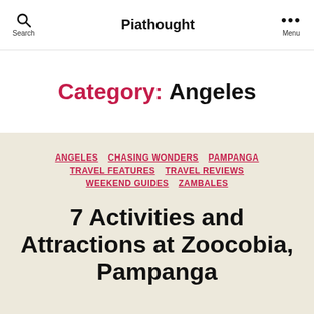Search | Piathought | Menu
Category: Angeles
ANGELES  CHASING WONDERS  PAMPANGA  TRAVEL FEATURES  TRAVEL REVIEWS  WEEKEND GUIDES  ZAMBALES
7 Activities and Attractions at Zoocobia, Pampanga